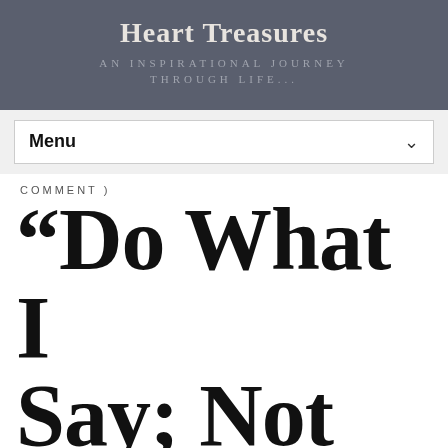Heart Treasures
AN INSPIRATIONAL JOURNEY THROUGH LIFE...
Menu
COMMENT )
“Do What I Say; Not What I